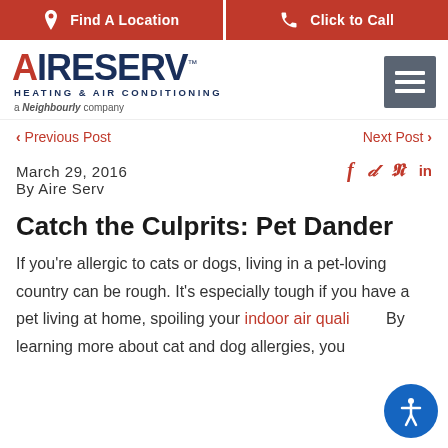Find A Location | Click to Call
[Figure (logo): Aire Serv Heating & Air Conditioning - a Neighbourly company logo with hamburger menu]
< Previous Post   Next Post >
March 29, 2016
By Aire Serv
Catch the Culprits: Pet Dander
If you're allergic to cats or dogs, living in a pet-loving country can be rough. It's especially tough if you have a pet living at home, spoiling your indoor air quality. By learning more about cat and dog allergies, you